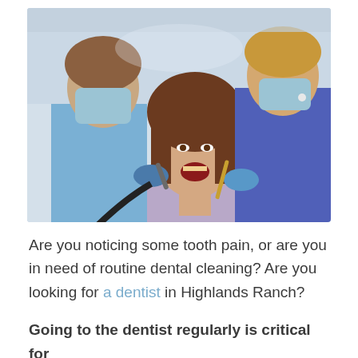[Figure (photo): A female dental patient reclines with her mouth open while two dental professionals wearing blue gloves and surgical masks perform a dental procedure. The dentist on the left holds a dental tool and suction device, while the assistant on the right holds another instrument.]
Are you noticing some tooth pain, or are you in need of routine dental cleaning? Are you looking for a dentist in Highlands Ranch?
Going to the dentist regularly is critical for